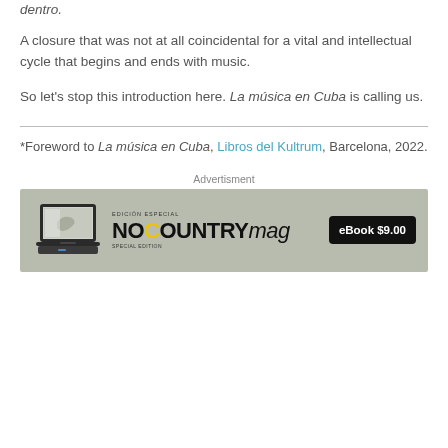dentro.
A closure that was not at all coincidental for a vital and intellectual cycle that begins and ends with music.
So let's stop this introduction here. La música en Cuba is calling us.
*Foreword to La música en Cuba, Libros del Kultrum, Barcelona, 2022.
Advertisment
[Figure (illustration): Advertisement banner for NoCountryMag Special Edition eBook priced at $9.00, showing a laptop with the magazine cover and the NoCountryMag logo on a gray-green background.]